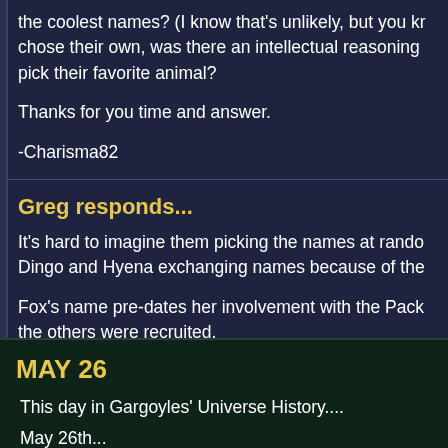the coolest names? (I know that's unlikely, but you kr chose their own, was there an intellectual reasoning pick their favorite animal?
Thanks for you time and answer.
-Charisma82
Greg responds...
It's hard to imagine them picking the names at rando Dingo and Hyena exchanging names because of the
Fox's name pre-dates her involvement with the Pack the others were recruited.
MAY 26
This day in Gargoyles' Universe History....
May 26th...